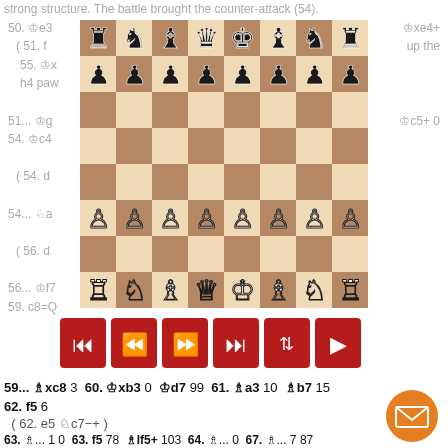strong structure. The battle brought the counter-attack (54)...
[Figure (other): Chess board showing a mid-game position with black pieces on rank 8 and pawns on rank 7, white pawns on rank 3 and white pieces on rank 1. Navigation buttons below the board (first, rewind, forward, last, flip, play) in red.]
59... 车xc8 3  60. 籍xb3 0  籍d7 99  61. 车a3 10  车b7 15
62. f5 6
( 62. e5 驮c7-+ )
63. 车... 1 0  63. f5 78  车lf5+ 103  64. 车... 0  67. 车... 7 87